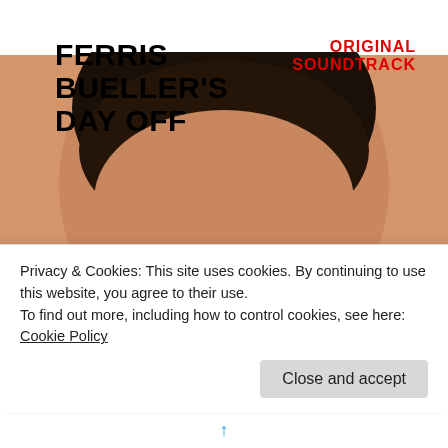[Figure (photo): Ferris Bueller's Day Off Original Soundtrack album cover. Close-up face of a young man (Matthew Broderick) with dark hair, hands behind his head, elbows out. Two other people partially visible below. White background at top. Title text 'FERRIS BUELLER'S DAY OFF' in bold black on upper left, 'ORIGINAL SOUNDTRACK' in bold red on upper right.]
Privacy & Cookies: This site uses cookies. By continuing to use this website, you agree to their use.
To find out more, including how to control cookies, see here: Cookie Policy
Close and accept